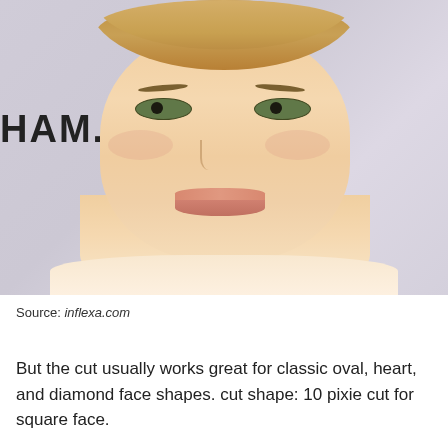[Figure (photo): Close-up photo of a woman with short blonde pixie cut hair, green eyes, light skin, subtle smile, wearing minimal makeup. Background shows partial text 'HAM' on the left side, likely from a banner or sign.]
Source: inflexa.com
But the cut usually works great for classic oval, heart, and diamond face shapes. cut shape: 10 pixie cut for square face.